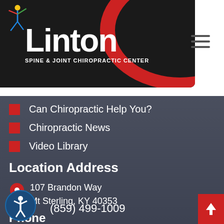[Figure (logo): Linton Spine & Joint Chiropractic Center logo with stylized figure on black/red background]
Can Chiropractic Help You?
Chiropractic News
Video Library
Location Address
107 Brandon Way
Mt Sterling, KY 40353
Phone
(859) 499-1009